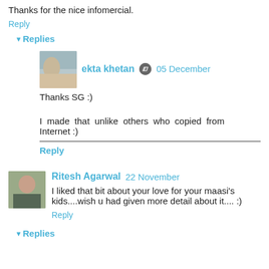Thanks for the nice infomercial.
Reply
▾ Replies
ekta khetan  05 December
Thanks SG :)
I made that unlike others who copied from Internet :)
Reply
Ritesh Agarwal  22 November
I liked that bit about your love for your maasi's kids....wish u had given more detail about it.... :)
Reply
▾ Replies